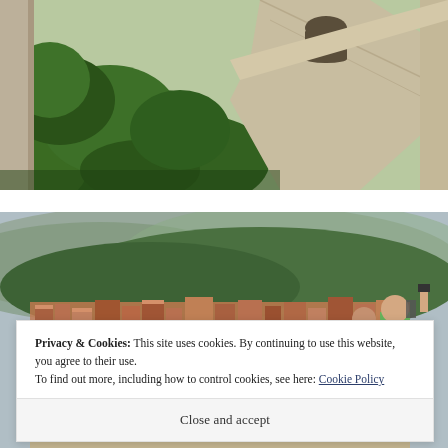[Figure (photo): View from stone fortress walls looking down at lush green trees and an arched stone gateway, with ancient limestone walls visible]
[Figure (photo): Panoramic view of Dubrovnik's red-roofed old town city from the fortress walls, with wooded hillside in background, tourists visible on the right taking photos]
Privacy & Cookies: This site uses cookies. By continuing to use this website, you agree to their use.
To find out more, including how to control cookies, see here: Cookie Policy
Close and accept